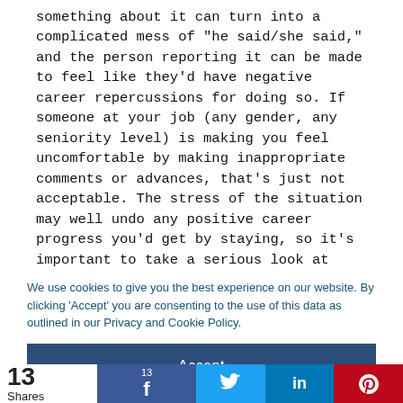something about it can turn into a complicated mess of "he said/she said," and the person reporting it can be made to feel like they'd have negative career repercussions for doing so. If someone at your job (any gender, any seniority level) is making you feel uncomfortable by making inappropriate comments or advances, that's just not acceptable. The stress of the situation may well undo any positive career progress you'd get by staying, so it's important to take a serious look at other job options and opportunities. You should never, ever feel obligated to stay in a role where you're...
We use cookies to give you the best experience on our website. By clicking 'Accept' you are consenting to the use of this data as outlined in our Privacy and Cookie Policy.
Accept
13 Shares  13 (Facebook) (Twitter) in (LinkedIn) p (Pinterest)